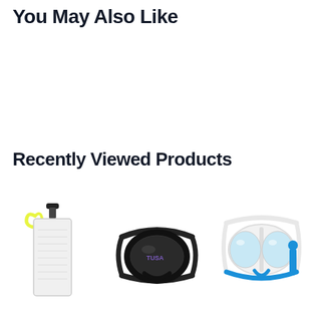You May Also Like
Recently Viewed Products
[Figure (photo): Three recently viewed scuba/snorkel products: a yellow-trimmed dive slate with hook clip (left), a black silicone diving mask (center), and a white/blue snorkel mask (right)]